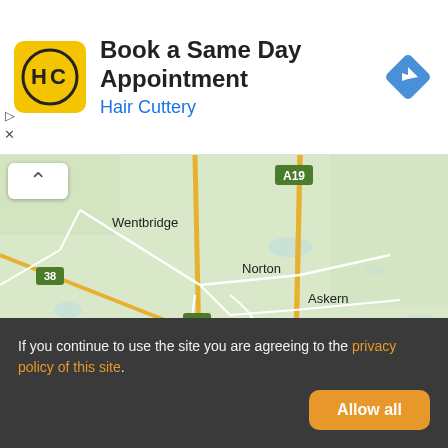[Figure (infographic): Hair Cuttery advertisement banner with logo, title 'Book a Same Day Appointment', subtitle 'Hair Cuttery', and navigation arrow icon]
[Figure (map): Google Maps screenshot showing area around Askern, South Yorkshire, UK with roads A19, A1, A638, 38 marked, and towns including Wentbridge, Norton, Askern, Haywood, Kirkhouse Green, South Elmsall, Carcroft, Barnby Dun, Stainton visible]
If you continue to use the site you are agreeing to the privacy policy of this site.
Allow all